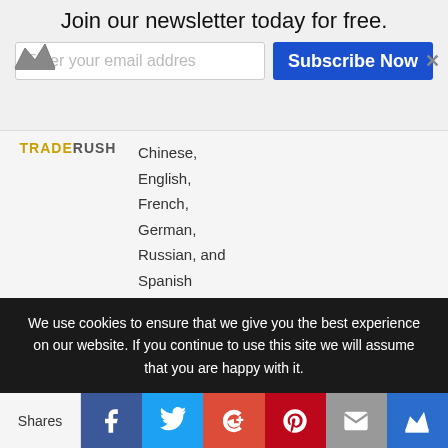Join our newsletter today for free.
Chinese, English, French, German, Russian, and Spanish
|  | Languages | Min Deposit | Min Trade | Max Return |
| --- | --- | --- | --- | --- |
| EZTrader | Chinese, English, French, German, Italian, | 100 USD | 25 USD | 95% |
We use cookies to ensure that we give you the best experience on our website. If you continue to use this site we will assume that you are happy with it.
Shares